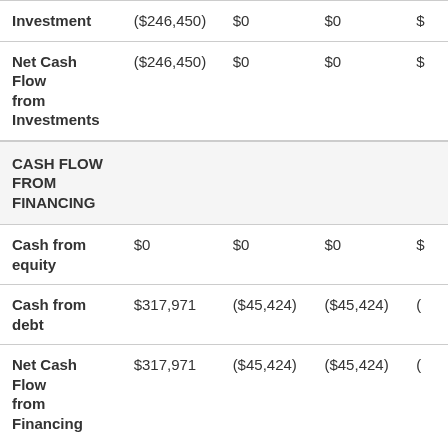|  | Col1 | Col2 | Col3 | Col4 |
| --- | --- | --- | --- | --- |
| Investment | ($246,450) | $0 | $0 | $ |
| Net Cash Flow from Investments | ($246,450) | $0 | $0 | $ |
| CASH FLOW FROM FINANCING |  |  |  |  |
| Cash from equity | $0 | $0 | $0 | $ |
| Cash from debt | $317,971 | ($45,424) | ($45,424) | ( |
| Net Cash Flow from Financing | $317,971 | ($45,424) | ($45,424) | ( |